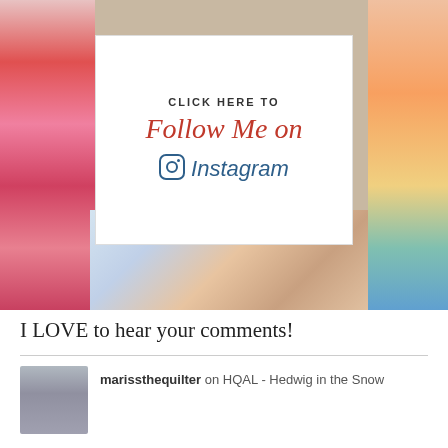[Figure (photo): Instagram follow banner overlaid on colorful quilt and craft collage photos. White card in center reads CLICK HERE TO Follow Me on Instagram with Instagram logo.]
I LOVE to hear your comments!
marissthequilter on HQAL - Hedwig in the Snow